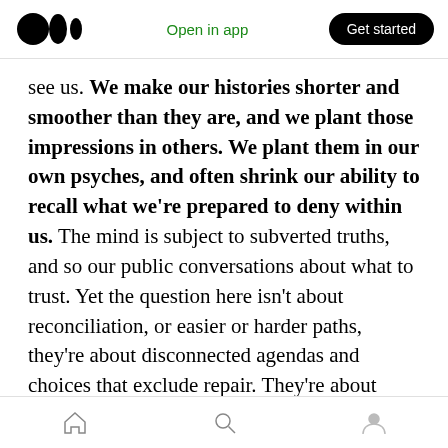Medium logo | Open in app | Get started
see us. We make our histories shorter and smoother than they are, and we plant those impressions in others. We plant them in our own psyches, and often shrink our ability to recall what we're prepared to deny within us. The mind is subject to subverted truths, and so our public conversations about what to trust. Yet the question here isn't about reconciliation, or easier or harder paths, they're about disconnected agendas and choices that exclude repair. They're about what it will take for additional honesty in self-images, and a
Home | Search | Profile